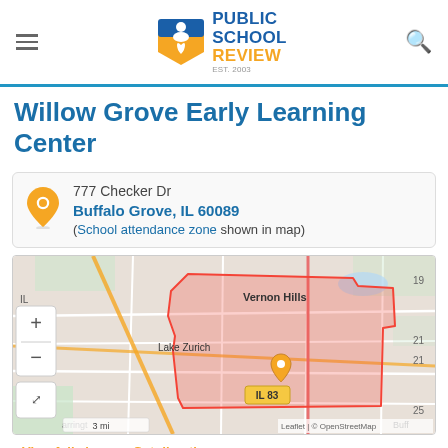Public School Review — EST. 2003
Willow Grove Early Learning Center
777 Checker Dr
Buffalo Grove, IL 60089
(School attendance zone shown in map)
[Figure (map): Interactive map showing school attendance zone for Willow Grove Early Learning Center in Buffalo Grove, IL. A red shaded polygon outlines the attendance boundary covering Buffalo Grove and surrounding area. Map shows Vernon Hills label to the north, Lake Zurich to the west, IL 83 road, and an orange map pin marking the school location. Map attribution: Leaflet | © OpenStreetMap. Scale shows 3 mi.]
View full size   Get directions